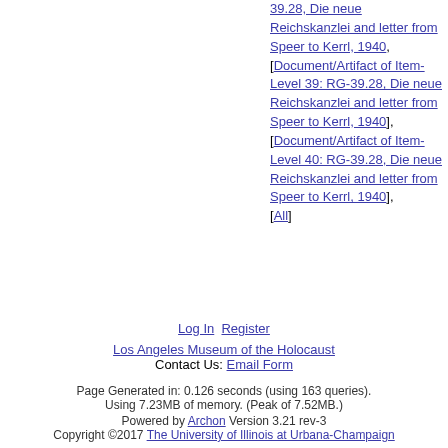39.28, Die neue Reichskanzlei and letter from Speer to Kerrl, 1940], [Document/Artifact of Item-Level 39: RG-39.28, Die neue Reichskanzlei and letter from Speer to Kerrl, 1940], [Document/Artifact of Item-Level 40: RG-39.28, Die neue Reichskanzlei and letter from Speer to Kerrl, 1940], [All]
Log In  Register
Los Angeles Museum of the Holocaust
Contact Us: Email Form
Page Generated in: 0.126 seconds (using 163 queries).
Using 7.23MB of memory. (Peak of 7.52MB.)
Powered by Archon Version 3.21 rev-3
Copyright ©2017 The University of Illinois at Urbana-Champaign